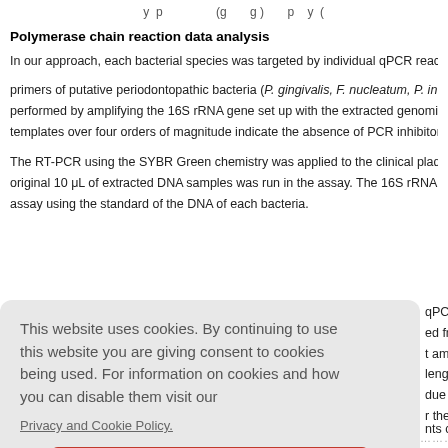(partial top line cut off)
Polymerase chain reaction data analysis
In our approach, each bacterial species was targeted by individual qPCR reac primers of putative periodontopathic bacteria (P. gingivalis, F. nucleatum, P. in performed by amplifying the 16S rRNA gene set up with the extracted genomic DN templates over four orders of magnitude indicate the absence of PCR inhibitors in t
The RT-PCR using the SYBR Green chemistry was applied to the clinical plaque s original 10 μL of extracted DNA samples was run in the assay. The 16S rRNA ge assay using the standard of the DNA of each bacteria.
Cookie consent overlay: This website uses cookies. By continuing to use this website you are giving consent to cookies being used. For information on cookies and how you can disable them visit our Privacy and Cookie Policy. [AGREE & PROCEED button]
qPCR rea ed from the t amplicon length, T. M due to their r the study's
nts compar